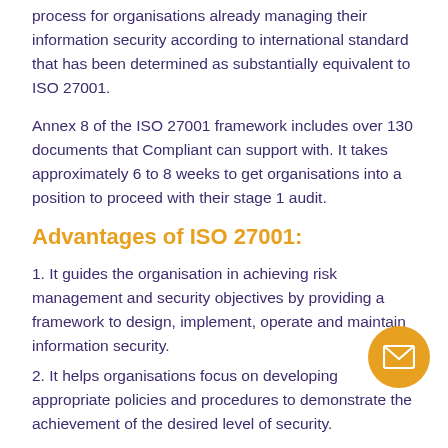process for organisations already managing their information security according to international standard that has been determined as substantially equivalent to ISO 27001.
Annex 8 of the ISO 27001 framework includes over 130 documents that Compliant can support with. It takes approximately 6 to 8 weeks to get organisations into a position to proceed with their stage 1 audit.
Advantages of ISO 27001:
1. It guides the organisation in achieving risk management and security objectives by providing a framework to design, implement, operate and maintain information security.
2. It helps organisations focus on developing appropriate policies and procedures to demonstrate the achievement of the desired level of security.
3. It serves as a means for organisations to evaluate